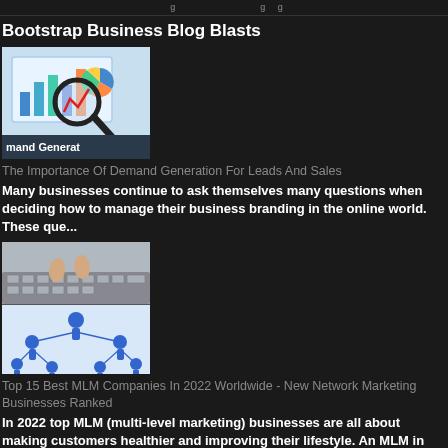Bootstrap Business Blog Blasts (partial navigation)
Bootstrap Business Blog Blasts
[Figure (illustration): Thumbnail image showing a computer monitor with charts and a magnifying glass, labeled 'Demand Generation']
The Importance Of Demand Generation For Leads And Sales
Many businesses continue to ask themselves many questions when deciding how to manage their business branding in the online world. These que...
[Figure (illustration): Two-part thumbnail: top half shows hands on a laptop keyboard, bottom half shows network of blue human figures connected by lines]
Top 15 Best MLM Companies In 2022 Worldwide - New Network Marketing Businesses Ranked
In 2022 top MLM (multi-level marketing) businesses are all about making customers healthier and improving their lifestyle. An MLM in 2022...
[Figure (photo): Photo of a brick academic building with a white clock tower, resembling a university building]